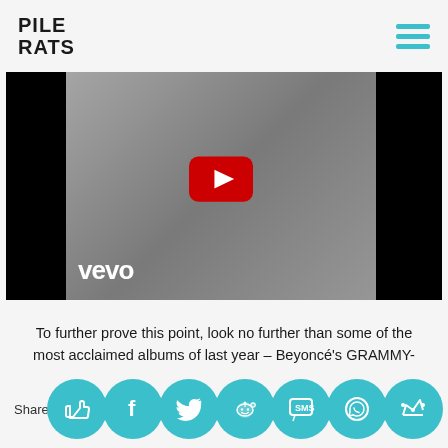PILE RATS
[Figure (screenshot): YouTube video embed thumbnail showing a grainy grey/dark video image with the YouTube red play button logo in the center and 'vevo' watermark in the lower left. Black bars on left and right sides.]
To further prove this point, look no further than some of the most acclaimed albums of last year – Beyoncé's GRAMMY-snubbed Lemonade, Rihanna's Anti, and Kanye West's sprawling, constantly-updating The Life Of Pablo.
Share [social icons: thumbs up, Facebook, Twitter, Reddit, SMS, WhatsApp, crown]